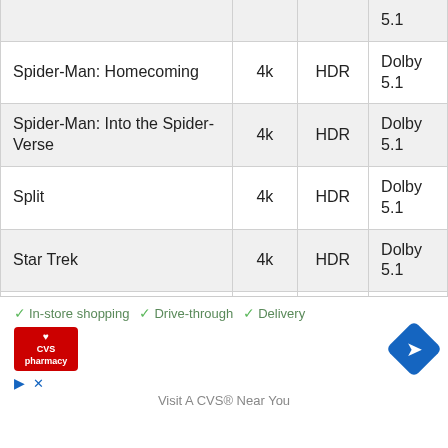| Title | Resolution | HDR | Audio |
| --- | --- | --- | --- |
|  |  |  | 5.1 |
| Spider-Man: Homecoming | 4k | HDR | Dolby
5.1 |
| Spider-Man: Into the Spider-Verse | 4k | HDR | Dolby
5.1 |
| Split | 4k | HDR | Dolby
5.1 |
| Star Trek | 4k | HDR | Dolby
5.1 |
| Star Trek Beyond | 4k | HDR | Dolby
5.1 |
| Star Trek Into Darkness | 4k | HDR | Dolby |
[Figure (other): CVS Pharmacy advertisement overlay showing in-store shopping, drive-through, and delivery options with CVS logo and navigation icon]